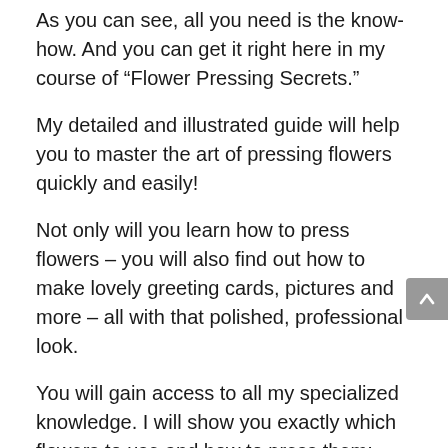As you can see, all you need is the know-how.  And you can get it right here in my course of “Flower Pressing Secrets.”
My detailed and illustrated guide will help you to master the art of pressing flowers quickly and easily!
Not only will you learn how to press flowers – you will also find out how to make lovely greeting cards, pictures and more – all with that polished, professional look.
You will gain access to all my specialized knowledge. I will show you exactly which flowers to use and how to press them; how to preserve the color; how to create easy designs and much more.